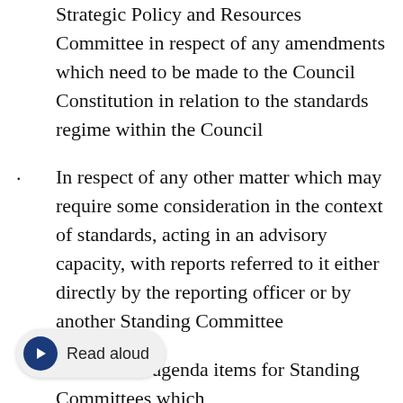Strategic Policy and Resources Committee in respect of any amendments which need to be made to the Council Constitution in relation to the standards regime within the Council
In respect of any other matter which may require some consideration in the context of standards, acting in an advisory capacity, with reports referred to it either directly by the reporting officer or by another Standing Committee
ideration of agenda items for Standing Committees which